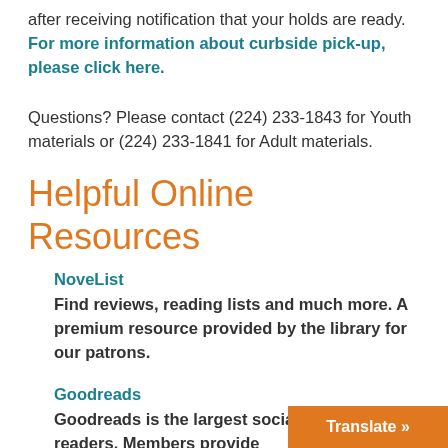after receiving notification that your holds are ready. For more information about curbside pick-up, please click here.
Questions? Please contact (224) 233-1843 for Youth materials or (224) 233-1841 for Adult materials.
Helpful Online Resources
NoveList
Find reviews, reading lists and much more. A premium resource provided by the library for our patrons.
Goodreads
Goodreads is the largest social network for readers. Members provide
Translate »